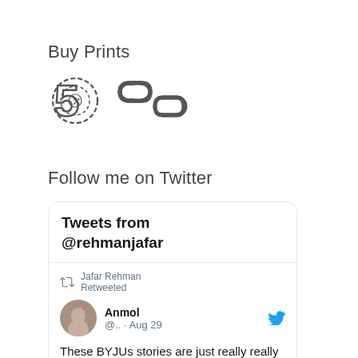Buy Prints
[Figure (illustration): Two social media icons: a 500px logo (spiral number 5) and a chain/link icon, both in dark gray]
Follow me on Twitter
[Figure (screenshot): Embedded Twitter widget showing 'Tweets from @rehmanjafar'. Contains a retweet by Jafar Rehman of a tweet by Anmol (@..) from Aug 29. Tweet text: 'These BYJUs stories are just really really sad ☹']